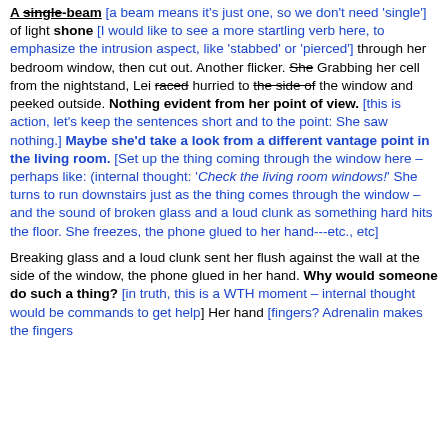A single-beam [a beam means it's just one, so we don't need 'single'] of light shone [I would like to see a more startling verb here, to emphasize the intrusion aspect, like 'stabbed' or 'pierced'] through her bedroom window, then cut out. Another flicker. She Grabbing her cell from the nightstand, Lei raced hurried to the side of the window and peeked outside. Nothing evident from her point of view. [this is action, let's keep the sentences short and to the point: She saw nothing.] Maybe she'd take a look from a different vantage point in the living room. [Set up the thing coming through the window here – perhaps like: (internal thought: 'Check the living room windows!' She turns to run downstairs just as the thing comes through the window – and the sound of broken glass and a loud clunk as something hard hits the floor. She freezes, the phone glued to her hand---etc., etc]
Breaking glass and a loud clunk sent her flush against the wall at the side of the window, the phone glued in her hand. Why would someone do such a thing? [in truth, this is a WTH moment – internal thought would be commands to get help] Her hand [fingers? Adrenalin makes the fingers